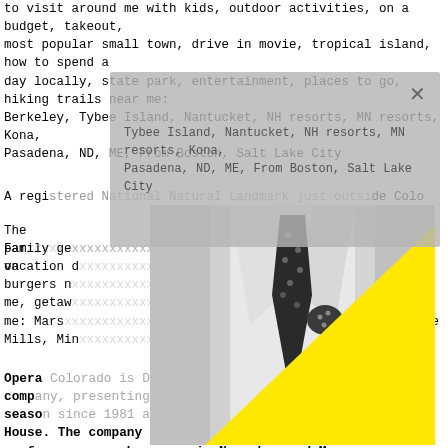to visit around me with kids, outdoor activities, on a budget, takeout, most popular small town, drive in movie, tropical island, how to spend a day locally, state park, entertainment, places to go, hiking trails near me: Berkeley, Tybee Island, Nantucket, NH resorts, MN resorts, Kona, Pasadena, ND, ME, From Boston, Salt Lake City
A registered National Natural Landmark just outside Colo
The par... rooms, on
[Figure (photo): Black and white photo of a man in a white dress shirt with a black polka-dot tie and matching pocket square, overlaid with a large yellow triangle in the lower right portion of the image.]
Family ge... eekend, vacation d... ies, burgers n... ks near me, getaw... ces near me: Mars... Lake Mills, Min...
Opera Colorado is Denver's premiere world-class opera company, presenting fine opera performances each season since 1981 at the city's Ellie Caulkins Opera House. The company mounts two full-scale opera performances each season in November and May, focusing on classics such as Verdi's La Traviata and